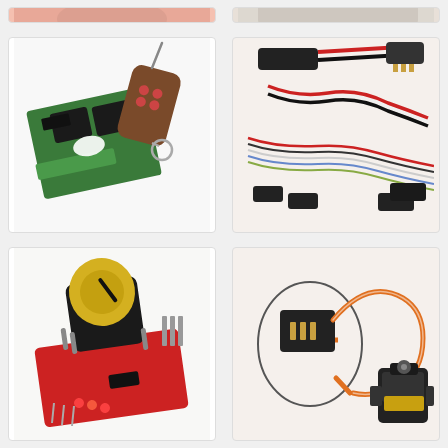[Figure (photo): Partial view of an electronic component/module at top of page, left side]
[Figure (photo): Partial view of an electronic component at top of page, right side]
[Figure (photo): Wireless RF relay module with green PCB, two black relay blocks, and a brown wireless remote control keyfob with antenna]
[Figure (photo): Servo extension cables and wiring harness with black connectors, red/black/white twisted wire and multi-colored ribbon cable]
[Figure (photo): Red PCB module with a large black rotary potentiometer with yellow top, multiple pins, capacitors and LEDs]
[Figure (photo): Servo connector close-up with orange cable loop and a servo motor, with a circled inset showing connector detail]